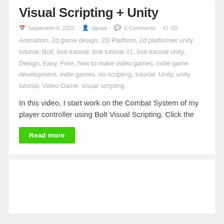Visual Scripting + Unity
September 6, 2021   dgraal   0 Comments   2D Animation, 2d game design, 2D Platform, 2d platformer unity tutorial, Bolt, bolt tutorial, bolt tutorial #1, bolt tutorial unity, Design, Easy, Free, how to make video games, indie game development, indie games, no scripting, tutorial, Unity, unity tutorial, Video Game, visual scripting
In this video, I start work on the Combat System of my player controller using Bolt Visual Scripting. Click the
Read more